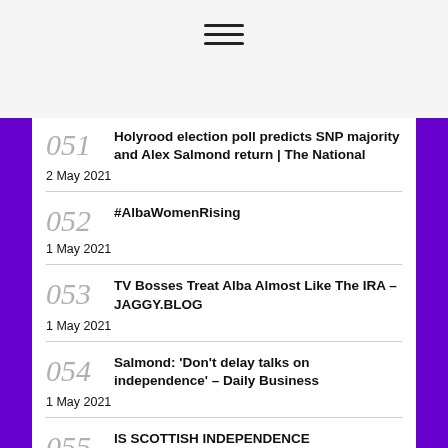051 Holyrood election poll predicts SNP majority and Alex Salmond return | The National
2 May 2021
052 #AlbaWomenRising
1 May 2021
053 TV Bosses Treat Alba Almost Like The IRA – JAGGY.BLOG
1 May 2021
054 Salmond: 'Don't delay talks on independence' – Daily Business
1 May 2021
055 IS SCOTTISH INDEPENDENCE DECOLONISATION? – YOURS FOR SCOTLAND